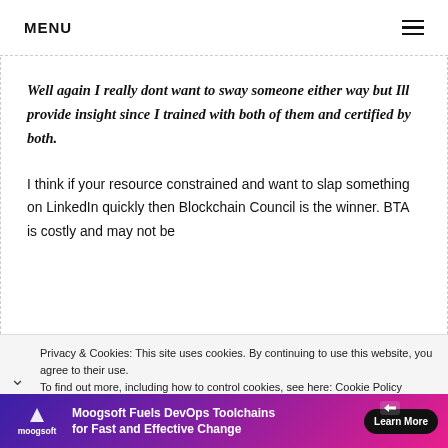MENU
Well again I really dont want to sway someone either way but Ill provide insight since I trained with both of them and certified by both.
I think if your resource constrained and want to slap something on LinkedIn quickly then Blockchain Council is the winner. BTA is costly and may not be
Privacy & Cookies: This site uses cookies. By continuing to use this website, you agree to their use. To find out more, including how to control cookies, see here: Cookie Policy
[Figure (infographic): Moogsoft advertisement banner: 'Moogsoft Fuels DevOps Toolchains for Fast and Effective Change' with Learn More button]